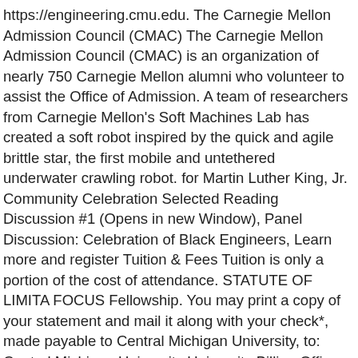https://engineering.cmu.edu. The Carnegie Mellon Admission Council (CMAC) The Carnegie Mellon Admission Council (CMAC) is an organization of nearly 750 Carnegie Mellon alumni who volunteer to assist the Office of Admission. A team of researchers from Carnegie Mellon's Soft Machines Lab has created a soft robot inspired by the quick and agile brittle star, the first mobile and untethered underwater crawling robot. for Martin Luther King, Jr. Community Celebration Selected Reading Discussion #1 (Opens in new Window), Panel Discussion: Celebration of Black Engineers, Learn more and register Tuition & Fees Tuition is only a portion of the cost of attendance. STATUTE OF LIMITA FOCUS Fellowship. You may print a copy of your statement and mail it along with your check*, made payable to Central Michigan University, to: Central Michigan University University Billing Office Bovee University Center 119 Mount Pleasant, MI 48859 *Please include your name and campus ID number on mailed checks to ensure expeditious processing. Contact Us. College of Engineering (CIT) Tuition: Varies. Enrolled students must pay for any course for which they